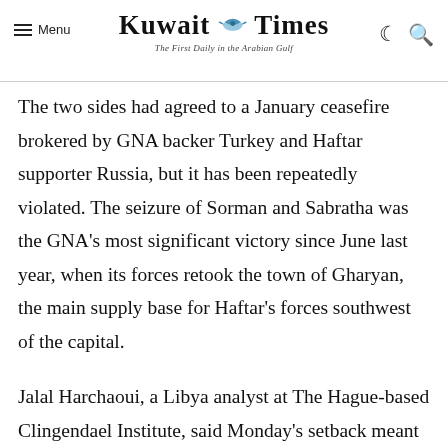Kuwait Times — The First Daily in the Arabian Gulf
The two sides had agreed to a January ceasefire brokered by GNA backer Turkey and Haftar supporter Russia, but it has been repeatedly violated. The seizure of Sorman and Sabratha was the GNA's most significant victory since June last year, when its forces retook the town of Gharyan, the main supply base for Haftar's forces southwest of the capital.
Jalal Harchaoui, a Libya analyst at The Hague-based Clingendael Institute, said Monday's setback meant Haftar had lost the entire coast west of Tripoli.